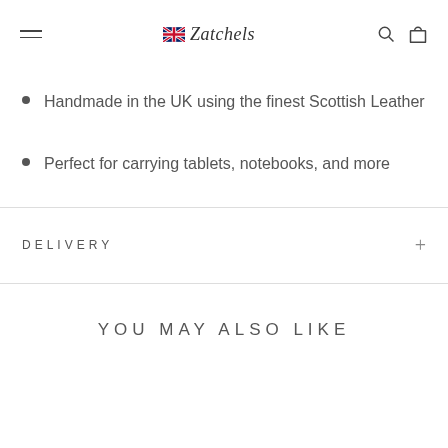Zatchels
Handmade in the UK using the finest Scottish Leather
Perfect for carrying tablets, notebooks, and more
DELIVERY
YOU MAY ALSO LIKE